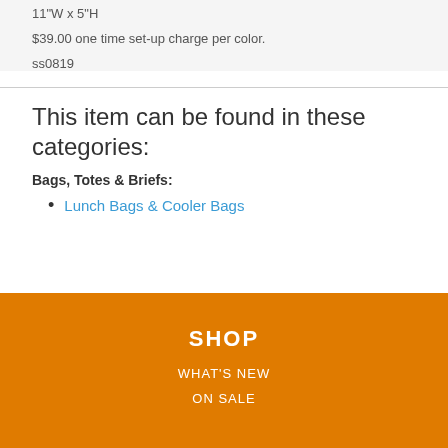11"W x 5"H
$39.00 one time set-up charge per color.
ss0819
This item can be found in these categories:
Bags, Totes & Briefs:
Lunch Bags & Cooler Bags
SHOP
WHAT'S NEW
ON SALE